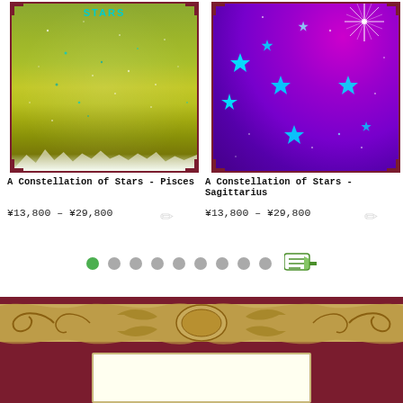[Figure (illustration): Product image of 'A Constellation of Stars - Pisces' art print with olive/yellow-green starfield background, tree silhouettes at bottom, 'STARS' text at top in teal, enclosed in dark red border frame]
A Constellation of Stars - Pisces
¥13,800 – ¥29,800
[Figure (illustration): Product image of 'A Constellation of Stars - Sagittarius' art print with vivid purple starfield, cyan/blue six-pointed stars scattered, bright starburst in top-right corner, enclosed in dark red border frame]
A Constellation of Stars - Sagittarius
¥13,800 – ¥29,800
[Figure (infographic): Pagination row: one filled green dot (active), followed by 8 gray dots, then a right-pointing cursor/hand icon in green]
[Figure (illustration): Decorative golden ornamental scroll/flourish banner on dark red/maroon background, with an ivory/cream rectangular card frame at the bottom center]